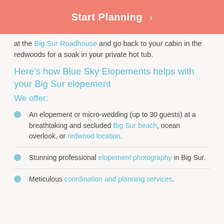Start Planning >
at the Big Sur Roadhouse and go back to your cabin in the redwoods for a soak in your private hot tub.
Here’s how Blue Sky Elopements helps with your Big Sur elopement
We offer:
An elopement or micro-wedding (up to 30 guests) at a breathtaking and secluded Big Sur beach, ocean overlook, or redwood location.
Stunning professional elopement photography in Big Sur.
Meticulous coordination and planning services.